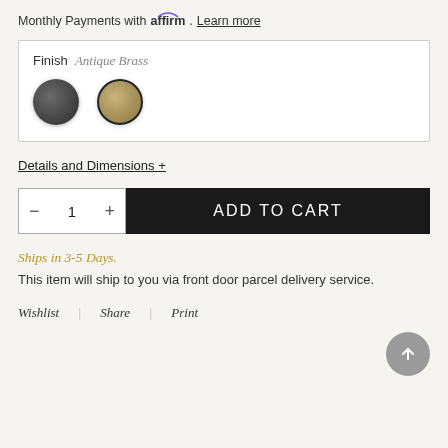Monthly Payments with affirm. Learn more
Finish  Antique Brass
[Figure (other): Two color swatches: a dark graphite circle and an antique brass circle with black border]
Details and Dimensions +
— 1 +   ADD TO CART
Ships in 3-5 Days.
This item will ship to you via front door parcel delivery service.
Wishlist  |  Share  |  Print